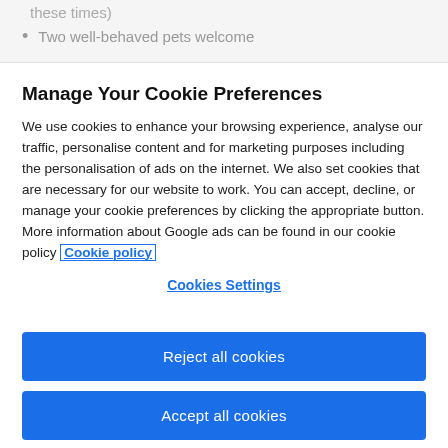these times)
Two well-behaved pets welcome
Manage Your Cookie Preferences
We use cookies to enhance your browsing experience, analyse our traffic, personalise content and for marketing purposes including the personalisation of ads on the internet. We also set cookies that are necessary for our website to work. You can accept, decline, or manage your cookie preferences by clicking the appropriate button. More information about Google ads can be found in our cookie policy Cookie policy
Cookies Settings
Reject all cookies
Accept all cookies